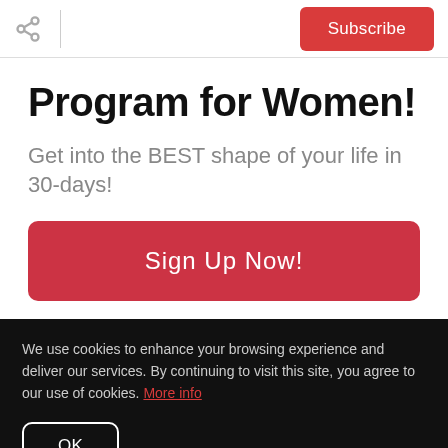Share | Subscribe
Program for Women!
Get into the BEST shape of your life in 30-days!
Sign Up Now!
We use cookies to enhance your browsing experience and deliver our services. By continuing to visit this site, you agree to our use of cookies. More info
OK